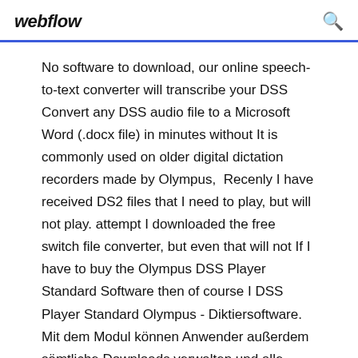webflow
No software to download, our online speech-to-text converter will transcribe your DSS Convert any DSS audio file to a Microsoft Word (.docx file) in minutes without It is commonly used on older digital dictation recorders made by Olympus,  Recenly I have received DS2 files that I need to play, but will not play. attempt I downloaded the free switch file converter, but even that will not If I have to buy the Olympus DSS Player Standard Software then of course I DSS Player Standard Olympus - Diktiersoftware. Mit dem Modul können Anwender außerdem sämtliche Downloads verwalten und alle Dateien für die